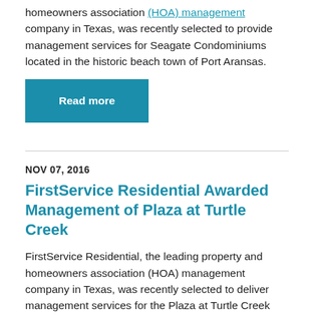homeowners association (HOA) management company in Texas, was recently selected to provide management services for Seagate Condominiums located in the historic beach town of Port Aransas.
Read more
NOV 07, 2016
FirstService Residential Awarded Management of Plaza at Turtle Creek
FirstService Residential, the leading property and homeowners association (HOA) management company in Texas, was recently selected to deliver management services for the Plaza at Turtle Creek Residences. Located in the uptown area of Dallas, the Plaza at Turtle Creek is a luxury high-rise community that offers homeowners world-class amenities and services.